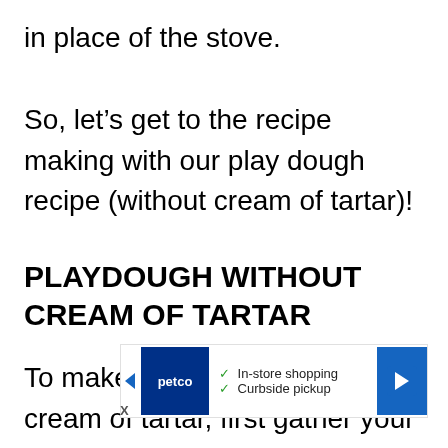in place of the stove.
So, let's get to the recipe making with our play dough recipe (without cream of tartar)!
PLAYDOUGH WITHOUT CREAM OF TARTAR
To make this playdough without cream of tartar, first gather your ingredients, cooki…